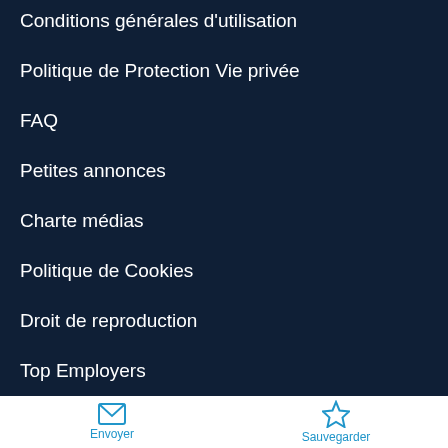Conditions générales d'utilisation
Politique de Protection Vie privée
FAQ
Petites annonces
Charte médias
Politique de Cookies
Droit de reproduction
Top Employers
Génération Le Soir
Talentum Hainaut
Envoyer   Sauvegarder